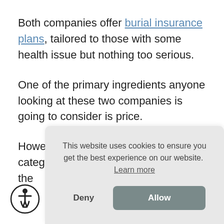Both companies offer burial insurance plans, tailored to those with some health issue but nothing too serious.
One of the primary ingredients anyone looking at these two companies is going to consider is price.
However, there are a few other categories that nee the rati
This website uses cookies to ensure you get the best experience on our website. Learn more
Deny
Allow